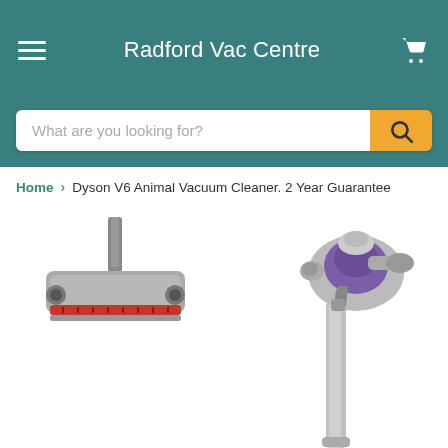Radford Vac Centre
What are you looking for?
Home > Dyson V6 Animal Vacuum Cleaner. 2 Year Guarantee
[Figure (photo): Dyson V6 Animal vacuum cleaner product page showing a motorhead floor tool attachment thumbnail on the left and the full Dyson V6 Animal stick vacuum upright on the right, with silver/purple coloring.]